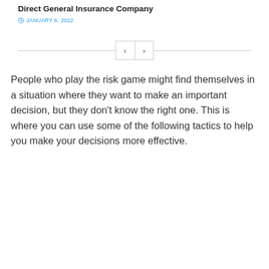Direct General Insurance Company
JANUARY 6, 2022
People who play the risk game might find themselves in a situation where they want to make an important decision, but they don't know the right one. This is where you can use some of the following tactics to help you make your decisions more effective.